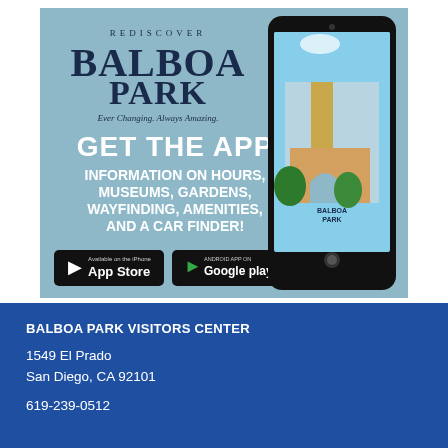[Figure (infographic): Balboa Park app advertisement on light blue background. Shows 'REDISCOVER' text, Balboa Park logo, tagline 'Ever Changing. Always Amazing.', 'GET THE APP' headline, 'INFORMATION ON HOURS, MUSEUMS, GARDENS, WAYFINDING, AMENITIES, AND A CAR FINDER!' body text, App Store and Google Play buttons, and a smartphone showing the Balboa Park app with a tower/landmark image.]
BALBOA PARK VISITORS CENTER
1549 El Prado
San Diego, CA 92101
619-239-0512